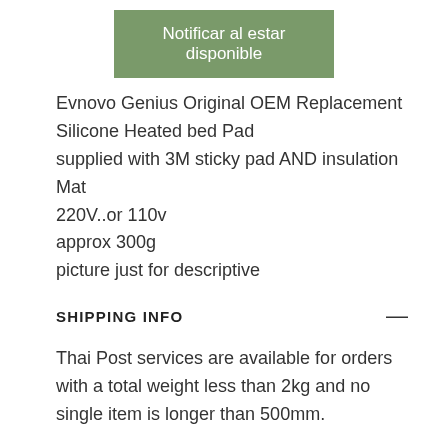Notificar al estar disponible
Evnovo Genius Original OEM Replacement Silicone Heated bed Pad
supplied with 3M sticky pad AND insulation Mat
220V..or 110v
approx 300g
picture just for descriptive
SHIPPING INFO
Thai Post services are available for orders with a total weight less than 2kg and no single item is longer than 500mm.